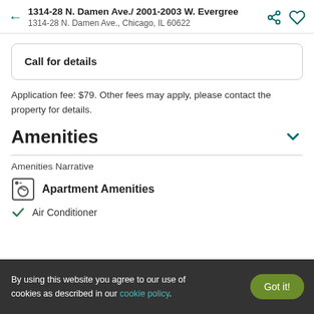1314-28 N. Damen Ave./ 2001-2003 W. Evergree
1314-28 N. Damen Ave., Chicago, IL 60622
Call for details
Application fee: $79. Other fees may apply, please contact the property for details.
Amenities
Amenities Narrative
Apartment Amenities
Air Conditioner
By using this website you agree to our use of cookies as described in our cookie policy.